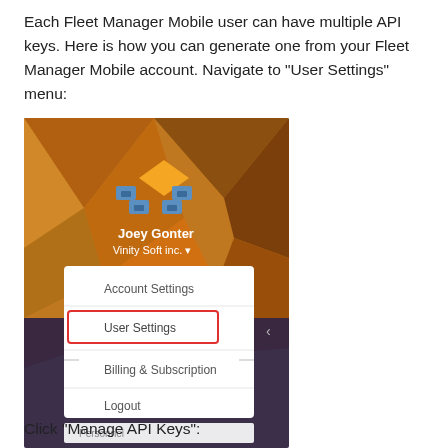Each Fleet Manager Mobile user can have multiple API keys. Here is how you can generate one from your Fleet Manager Mobile account. Navigate to "User Settings" menu:
[Figure (screenshot): Screenshot of Fleet Manager Mobile app showing a user menu for 'Joey Gonter' at 'Vinity Soft inc.' with options: Account Settings, User Settings (highlighted with red border), Billing & Subscription, Logout. The background is an orange/brown geometric pattern with a logo.]
Click "Manage API Keys":